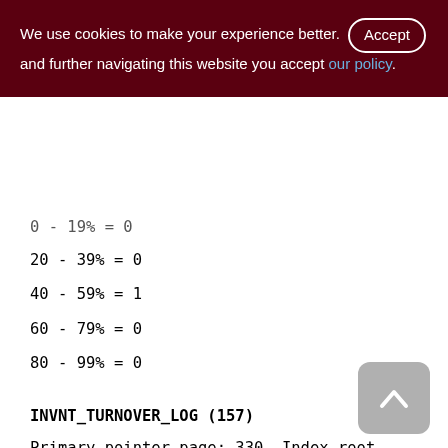We use cookies to make your experience better. By accepting and further navigating this website you accept our policy.
0 - 19% = 0
20 - 39% = 0
40 - 59% = 1
60 - 79% = 0
80 - 99% = 0
INVNT_TURNOVER_LOG (157)
Primary pointer page: 330, Index root page: 331
Total formats: 1, used formats: 1
Average record length: 27.98, total records: 3769
Average version length: 70.89, total